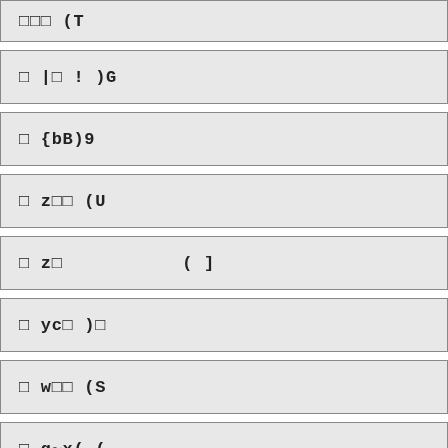□□□ (T
□ |□ ! )G
□ {bB)9
□ z□□ (U
□ z□           ( ]
□ yc□ )□
□ w□□ (S
□ q~x( (